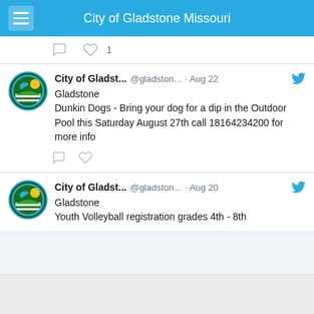City of Gladstone Missouri
City of Gladst... @gladston... · Aug 22
Gladstone
Dunkin Dogs - Bring your dog for a dip in the Outdoor Pool this Saturday August 27th call 18164234200 for more info
City of Gladst... @gladston... · Aug 20
Gladstone
Youth Volleyball registration grades 4th - 8th
City Departments